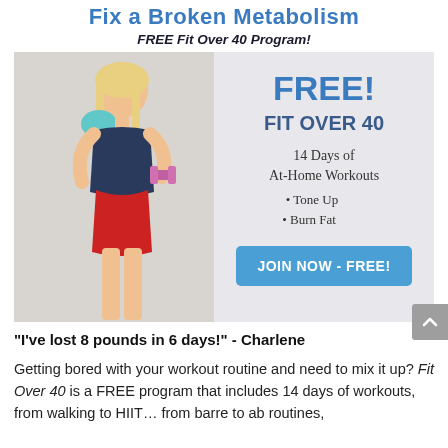Fix a Broken Metabolism
FREE Fit Over 40 Program!
[Figure (illustration): Advertisement banner for 'Fit Over 40' free program showing a fit woman in workout attire holding dumbbells, with text: FREE! FIT OVER 40, 14 Days of At-Home Workouts, Tone Up, Burn Fat, JOIN NOW - FREE!]
"I've lost 8 pounds in 6 days!" - Charlene
Getting bored with your workout routine and need to mix it up? Fit Over 40 is a FREE program that includes 14 days of workouts, from walking to HIIT... from barre to ab routines,